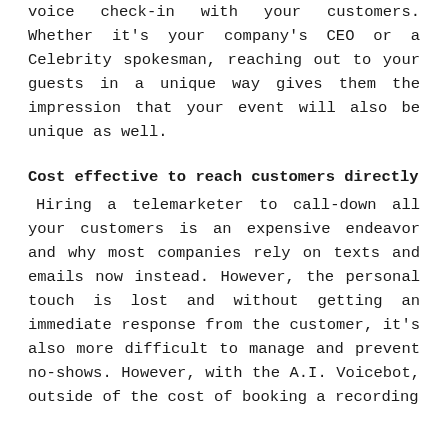voice check-in with your customers. Whether it's your company's CEO or a Celebrity spokesman, reaching out to your guests in a unique way gives them the impression that your event will also be unique as well.
Cost effective to reach customers directly
Hiring a telemarketer to call-down all your customers is an expensive endeavor and why most companies rely on texts and emails now instead. However, the personal touch is lost and without getting an immediate response from the customer, it's also more difficult to manage and prevent no-shows. However, with the A.I. Voicebot, outside of the cost of booking a recording